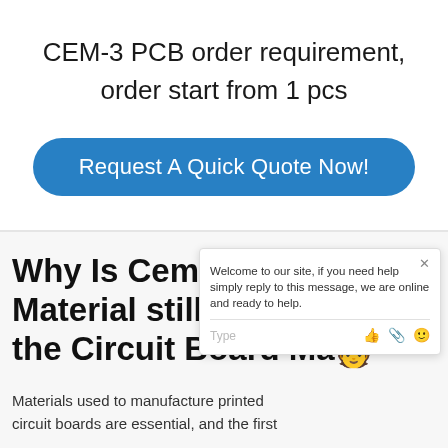CEM-3 PCB order requirement, order start from 1 pcs
[Figure (other): Blue rounded rectangle call-to-action button reading 'Request A Quick Quote Now!']
Why Is Cem-1 PCB Material still Popular in the Circuit Board Ma...
Materials used to manufacture printed circuit boards are essential, and the first
[Figure (screenshot): Chat widget popup with welcome message: 'Welcome to our site, if you need help simply reply to this message, we are online and ready to help.' and input bar with Type placeholder and emoji/attachment icons. Also shows blue up-arrow button and green chat bubble FAB with red badge showing '1'.]